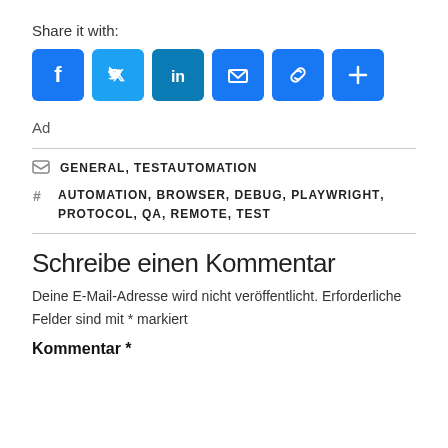Share it with:
[Figure (infographic): Social sharing icons: Facebook (blue), Twitter (light blue), LinkedIn (teal/blue), Email (blue), Link (blue), Plus/More (blue)]
Ad
GENERAL, TESTAUTOMATION
AUTOMATION, BROWSER, DEBUG, PLAYWRIGHT, PROTOCOL, QA, REMOTE, TEST
Schreibe einen Kommentar
Deine E-Mail-Adresse wird nicht veröffentlicht. Erforderliche Felder sind mit * markiert
Kommentar *